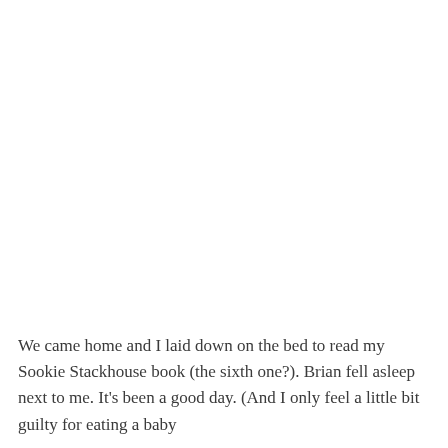We came home and I laid down on the bed to read my Sookie Stackhouse book (the sixth one?). Brian fell asleep next to me. It's been a good day. (And I only feel a little bit guilty for eating a baby